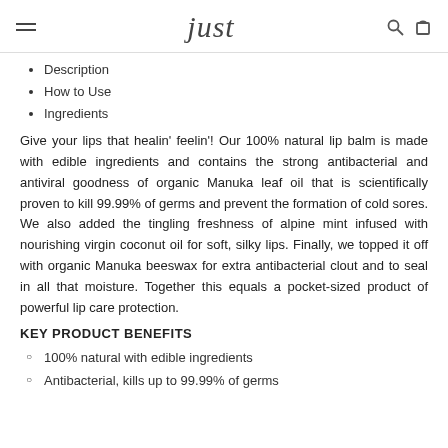just
Description
How to Use
Ingredients
Give your lips that healin' feelin'! Our 100% natural lip balm is made with edible ingredients and contains the strong antibacterial and antiviral goodness of organic Manuka leaf oil that is scientifically proven to kill 99.99% of germs and prevent the formation of cold sores. We also added the tingling freshness of alpine mint infused with nourishing virgin coconut oil for soft, silky lips. Finally, we topped it off with organic Manuka beeswax for extra antibacterial clout and to seal in all that moisture. Together this equals a pocket-sized product of powerful lip care protection.
KEY PRODUCT BENEFITS
100% natural with edible ingredients
Antibacterial, kills up to 99.99% of germs